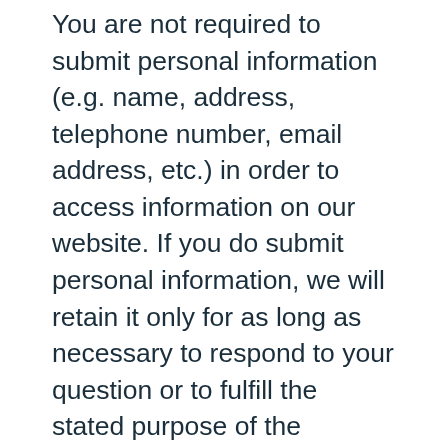You are not required to submit personal information (e.g. name, address, telephone number, email address, etc.) in order to access information on our website. If you do submit personal information, we will retain it only for as long as necessary to respond to your question or to fulfill the stated purpose of the communication. Just like information submitted in paper form, electronically submitted information is maintained and destroyed in accordance with the Federal Records Act and records schedules of the National Archives and Records Administration. Your personal information may be subject to disclosure in certain circumstances; for example, if lawfully required in response to a court